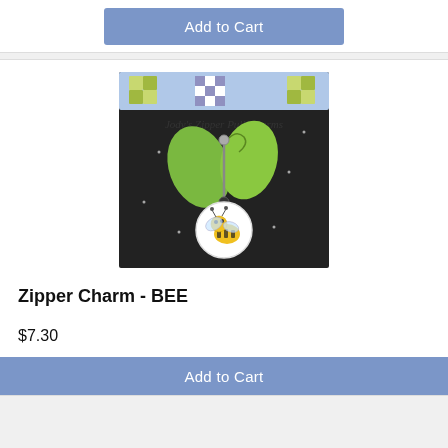[Figure (other): Add to Cart button at top, steel blue rounded rectangle button]
[Figure (photo): Product photo of Jody's Zipper Pull Charms - BEE zipper charm on black display card with green butterfly decoration and bee button charm]
Zipper Charm - BEE
$7.30
[Figure (other): Add to Cart button at bottom, steel blue rounded rectangle button]